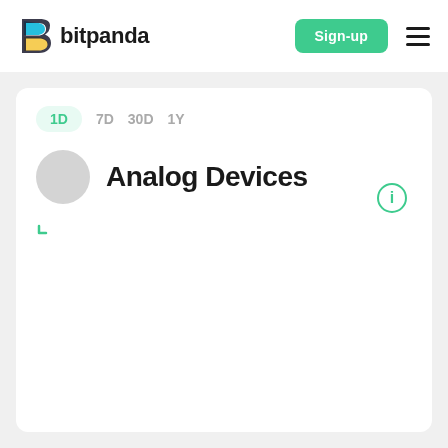[Figure (logo): Bitpanda logo: stylized 'B' icon in blue and yellow, with 'bitpanda' text in dark bold]
Sign-up
[Figure (other): Hamburger menu icon (three horizontal lines)]
1D  7D  30D  1Y
[Figure (photo): Circular grey placeholder logo for Analog Devices]
Analog Devices
[Figure (other): Circled 'i' information icon in green outline]
[Figure (other): Green expand/resize corner indicator (bottom-left L-shape)]